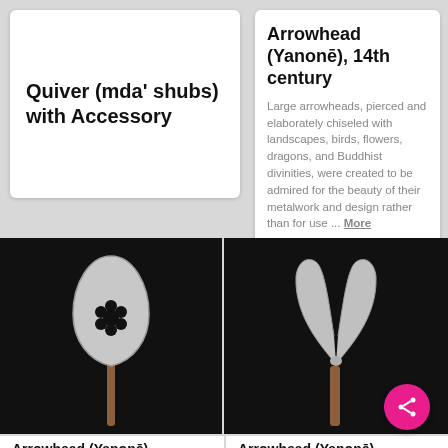Quiver (mda' shubs) with Accessory
Arrowhead (Yanonē), 14th century
Large arrowheads, pierced and elaborately chiseled with landscapes, birds, flowers, dragons, and Buddhist divinities, were created to be admired for the beauty of their metalwork and design rather than for use ... More
[Figure (photo): Arrowhead with rounded shovel-shaped blade and flower cutout, on a dark background]
[Figure (photo): Arrowhead with forked V-shaped blade on a dark background]
Arrowhead (Yanonē),
Arrowhead (Yanonē),